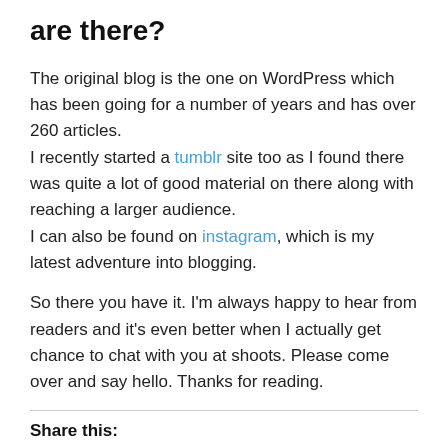are there?
The original blog is the one on WordPress which has been going for a number of years and has over 260 articles. I recently started a tumblr site too as I found there was quite a lot of good material on there along with reaching a larger audience.
I can also be found on instagram, which is my latest adventure into blogging.
So there you have it. I'm always happy to hear from readers and it's even better when I actually get chance to chat with you at shoots. Please come over and say hello. Thanks for reading.
Share this: